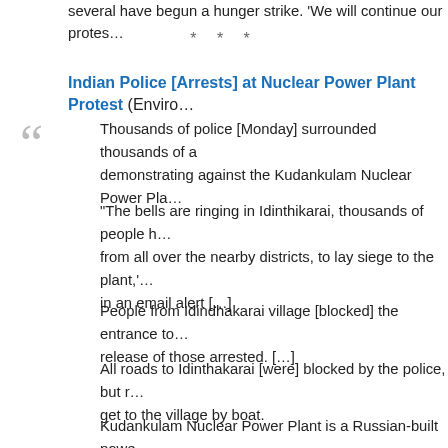several have begun a hunger strike. 'We will continue our protes...
* * *
Indian Police [Arrests] at Nuclear Power Plant Protest (Enviro...
Thousands of police [Monday] surrounded thousands of a... demonstrating against the Kudankulam Nuclear Power Pla...
“The bells are ringing in Idinthikarai, thousands of people ... from all over the nearby districts, to lay siege to the plant,’... in an email alert […]
People from Idindhakarai village [blocked] the entrance to... release of those arrested. […]
All roads to Idinthakarai [were] blocked by the police, but r... get to the village by boat.
Kudankulam Nuclear Power Plant is a Russian-built powe... southern tip of India in the state of Tamil Nadu. The two pr...